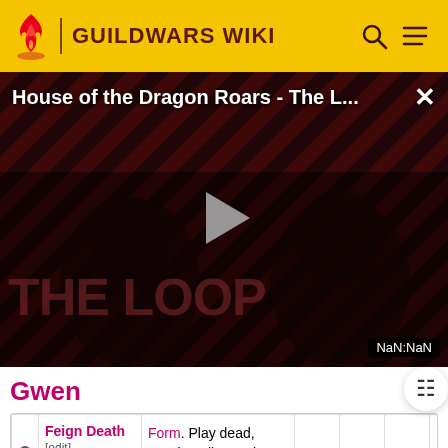GUILDWARS WIKI
[Figure (screenshot): Video player showing 'House of the Dragon Roars - The L...' with a play button, THE LOOP branding, and NaN:NaN timestamp badge]
Gwen
|  | Name | Description |  |  |  | Cast time |  |  |
| --- | --- | --- | --- | --- | --- | --- | --- | --- |
| • | Feign Death [edit] | Form. Play dead, causing all enemies to cease |  |  |  | ¼ |  |  |